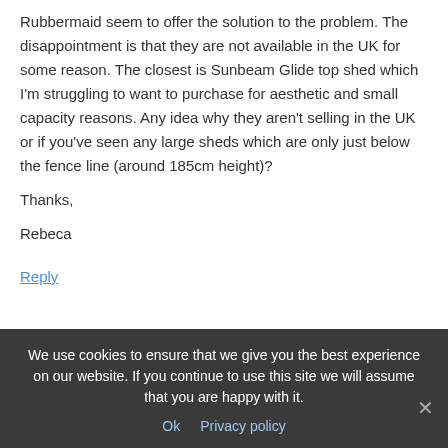Rubbermaid seem to offer the solution to the problem. The disappointment is that they are not available in the UK for some reason. The closest is Sunbeam Glide top shed which I'm struggling to want to purchase for aesthetic and small capacity reasons. Any idea why they aren't selling in the UK or if you've seen any large sheds which are only just below the fence line (around 185cm height)?
Thanks,
Rebeca
Reply
We use cookies to ensure that we give you the best experience on our website. If you continue to use this site we will assume that you are happy with it.
Ok   Privacy policy